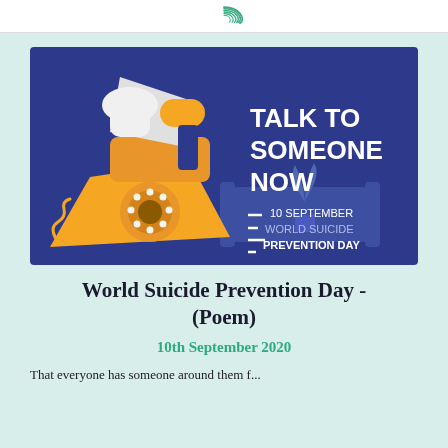Logo / site header icon
[Figure (illustration): World Suicide Prevention Day promotional illustration: a vintage orange rotary telephone with a hand lifting the receiver, on a dark blue background. Text reads 'TALK TO SOMEONE NOW' in white bold, and '10 SEPTEMBER WORLD SUICIDE PREVENTION DAY' in white on the right side.]
World Suicide Prevention Day - (Poem)
10th September 2020
That everyone has someone around them f...